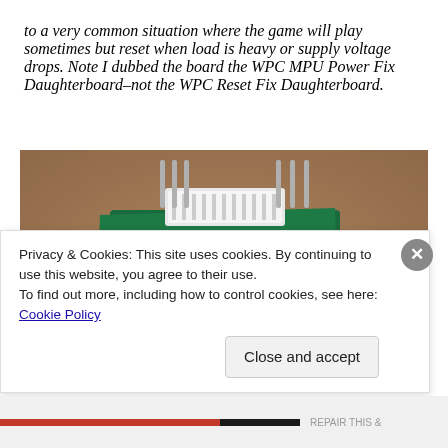to a very common situation where the game will play sometimes but reset when load is heavy or supply voltage drops. Note I dubbed the board the WPC MPU Power Fix Daughterboard–not the WPC Reset Fix Daughterboard.
[Figure (photo): Close-up photo of a green PCB daughterboard (WPC MPU Power Fix Daughterboard) with white connector and metal pins, placed on a brown cardboard background. The board has text printed on it including 'KAHR.US' visible in reverse.]
Privacy & Cookies: This site uses cookies. By continuing to use this website, you agree to their use.
To find out more, including how to control cookies, see here: Cookie Policy
Close and accept